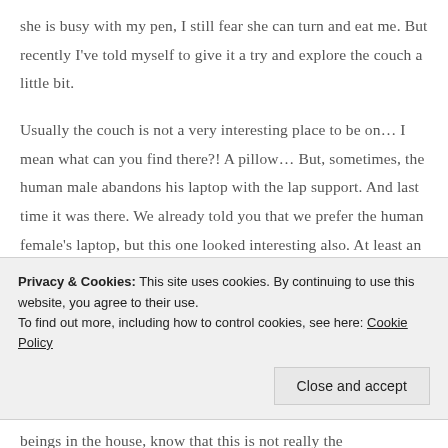she is busy with my pen, I still fear she can turn and eat me. But recently I've told myself to give it a try and explore the couch a little bit.

Usually the couch is not a very interesting place to be on… I mean what can you find there?! A pillow… But, sometimes, the human male abandons his laptop with the lap support. And last time it was there. We already told you that we prefer the human female's laptop, but this one looked interesting also. At least an attempt to communicate with it
Privacy & Cookies: This site uses cookies. By continuing to use this website, you agree to their use.
To find out more, including how to control cookies, see here: Cookie Policy
beings in the house, know that this is not really the